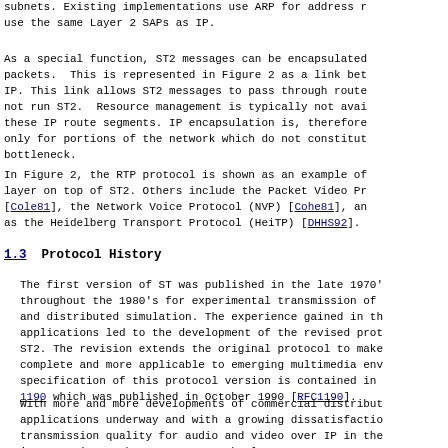subnets. Existing implementations use ARP for address resolution and use the same Layer 2 SAPs as IP.
As a special function, ST2 messages can be encapsulated in IP packets. This is represented in Figure 2 as a link between ST2 and IP. This link allows ST2 messages to pass through routers that do not run ST2. Resource management is typically not available over these IP route segments. IP encapsulation is, therefore, recommended only for portions of the network which do not constitute the bottleneck.
In Figure 2, the RTP protocol is shown as an example of a real-time layer on top of ST2. Others include the Packet Video Protocol (PVP) [Cole81], the Network Voice Protocol (NVP) [Cohe81], and protocols such as the Heidelberg Transport Protocol (HeiTP) [DHHS92].
1.3  Protocol History
The first version of ST was published in the late 1970's and used throughout the 1980's for experimental transmission of voice, video, and distributed simulation. The experience gained in these applications led to the development of the revised protocol version ST2. The revision extends the original protocol to make it more complete and more applicable to emerging multimedia environments. The specification of this protocol version is contained in RFC 1190 which was published in October 1990 [RFC1190].
With more and more developments of commercial distributed applications underway and with a growing dissatisfaction with the transmission quality for audio and video over IP in the internet, interest in ST2 has grown over the last years. Current